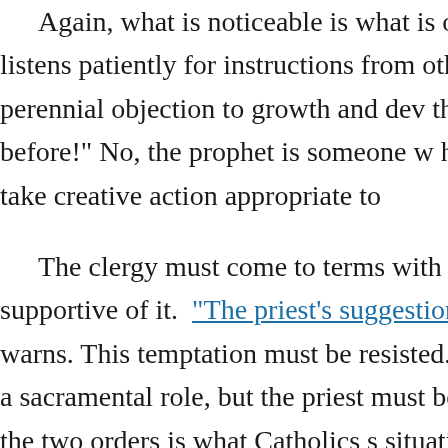Again, what is noticeable is what is on listens patiently for instructions from othe that perennial objection to growth and dev that before!" No, the prophet is someone w how to take creative action appropriate to
The clergy must come to terms with thi supportive of it. "The priest's suggestion i warns. This temptation must be resisted. T and a sacramental role, but the priest must between the two orders is what Catholics s situation in which "the big fish swallows t
Pope Francis, in other words, expects a think for itself, and is not fearful of its ow of harmonious yet different orders, address
It must not preach. It must not proselytiz or engage in theatrics. Rather, the Church must set a good example. They must know suffering and that they are called to go abo